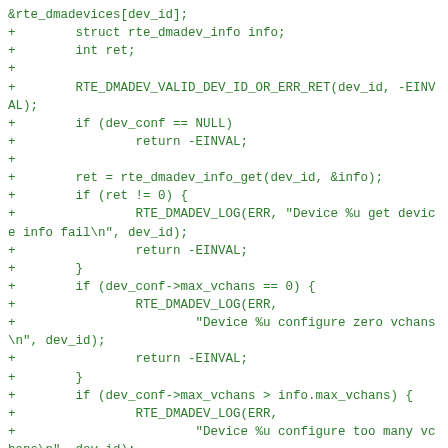[Figure (other): Code diff snippet in green monospace font showing C code additions for DMA device configuration validation, including checks for NULL dev_conf, device info retrieval, max_vchans == 0, max_vchans > info.max_vchans, and enable_silent capability check.]